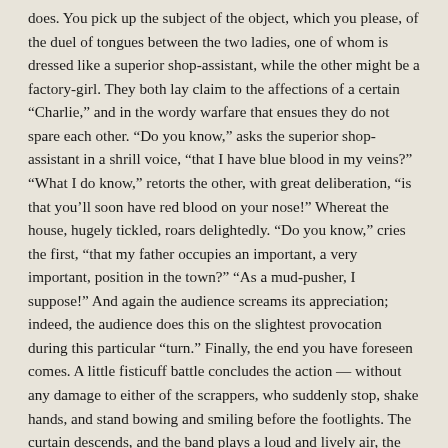does. You pick up the subject of the object, which you please, of the duel of tongues between the two ladies, one of whom is dressed like a superior shop-assistant, while the other might be a factory-girl. They both lay claim to the affections of a certain "Charlie," and in the wordy warfare that ensues they do not spare each other. "Do you know," asks the superior shop-assistant in a shrill voice, "that I have blue blood in my veins?" "What I do know," retorts the other, with great deliberation, "is that you'll soon have red blood on your nose!" Whereat the house, hugely tickled, roars delightedly. "Do you know," cries the first, "that my father occupies an important, a very important, position in the town?" "As a mud-pusher, I suppose!" And again the audience screams its appreciation; indeed, the audience does this on the slightest provocation during this particular "turn." Finally, the end you have foreseen comes. A little fisticuff battle concludes the action — without any damage to either of the scrappers, who suddenly stop, shake hands, and stand bowing and smiling before the footlights. The curtain descends, and the band plays a loud and lively air, the cornet, in particular, adding several horse-power to its volume and momentum, so to speak.